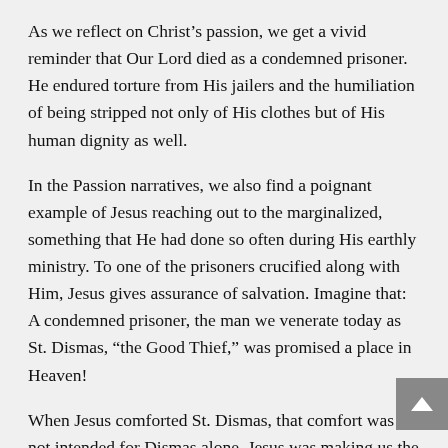As we reflect on Christ's passion, we get a vivid reminder that Our Lord died as a condemned prisoner. He endured torture from His jailers and the humiliation of being stripped not only of His clothes but of His human dignity as well.
In the Passion narratives, we also find a poignant example of Jesus reaching out to the marginalized, something that He had done so often during His earthly ministry. To one of the prisoners crucified along with Him, Jesus gives assurance of salvation. Imagine that: A condemned prisoner, the man we venerate today as St. Dismas, “the Good Thief,” was promised a place in Heaven!
When Jesus comforted St. Dismas, that comfort was not intended for Dismas alone. Jesus was making us the very same promise: Regardless of our sins, everyone can attain a place in Heaven with Him by asking for His love